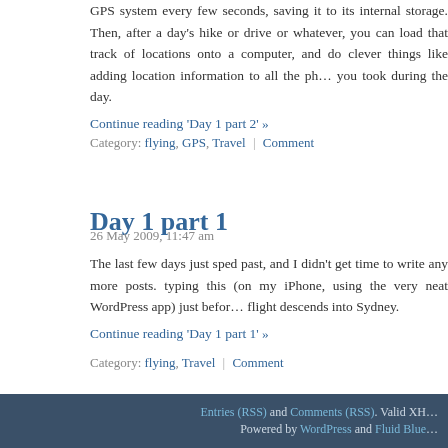GPS system every few seconds, saving it to its internal storage. Then, after a day's hike or drive or whatever, you can load that track of locations onto a computer, and do clever things like adding location information to all the photos you took during the day.
Continue reading 'Day 1 part 2' »
Category: flying, GPS, Travel | Comment
Day 1 part 1
26 May 2009, 11:47 am
The last few days just sped past, and I didn't get time to write any more posts. typing this (on my iPhone, using the very neat WordPress app) just before the flight descends into Sydney.
Continue reading 'Day 1 part 1' »
Category: flying, Travel | Comment
Entries (RSS) and Comments (RSS). Valid XH... Powered by WordPress and Fluid Blue...